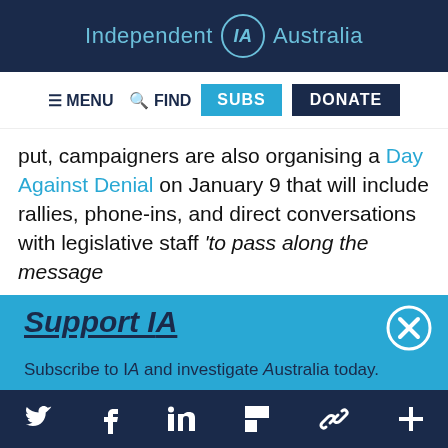Independent IA Australia
[Figure (screenshot): Navigation bar with menu, find, SUBS, and DONATE buttons]
put, campaigners are also organising a Day Against Denial on January 9 that will include rallies, phone-ins, and direct conversations with legislative staff 'to pass along the message
Support IA
Subscribe to IA and investigate Australia today.
Close   Subscribe   Donate
Social media icons: Twitter, Facebook, LinkedIn, Flipboard, share, plus